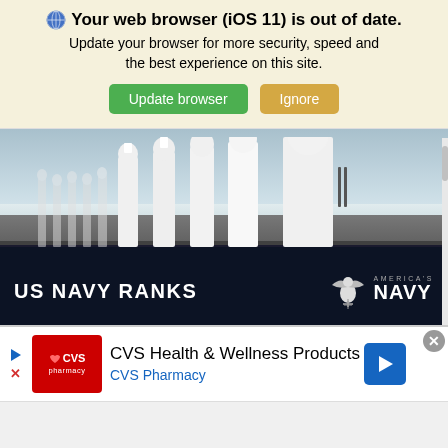Your web browser (iOS 11) is out of date. Update your browser for more security, speed and the best experience on this site.
[Figure (screenshot): Browser update warning banner with globe icon, bold title 'Your web browser (iOS 11) is out of date.', subtext about updating, and two buttons: green 'Update browser' and tan 'Ignore']
[Figure (photo): US Navy sailors in white uniforms standing in formation on a ship deck, with text overlay 'US NAVY RANKS' and America's Navy logo with eagle emblem on a dark semi-transparent banner]
[Figure (screenshot): CVS Health & Wellness Products advertisement banner featuring CVS Pharmacy red logo, ad title text, blue directional arrow icon, and close button]